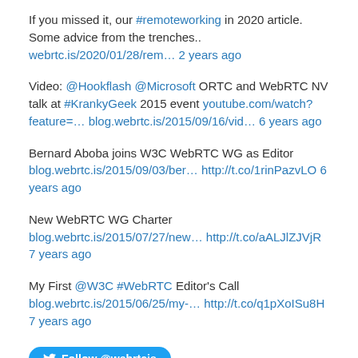If you missed it, our #remoteworking in 2020 article. Some advice from the trenches.. webrtc.is/2020/01/28/rem… 2 years ago
Video: @Hookflash @Microsoft ORTC and WebRTC NV talk at #KrankyGeek 2015 event youtube.com/watch?feature=… blog.webrtc.is/2015/09/16/vid… 6 years ago
Bernard Aboba joins W3C WebRTC WG as Editor blog.webrtc.is/2015/09/03/ber… http://t.co/1rinPazvLO 6 years ago
New WebRTC WG Charter blog.webrtc.is/2015/07/27/new… http://t.co/aALJlZJVjR 7 years ago
My First @W3C #WebRTC Editor's Call blog.webrtc.is/2015/06/25/my-… http://t.co/q1pXoISu8H 7 years ago
[Figure (other): Follow @webrtcis Twitter button]
Robin's Tweets